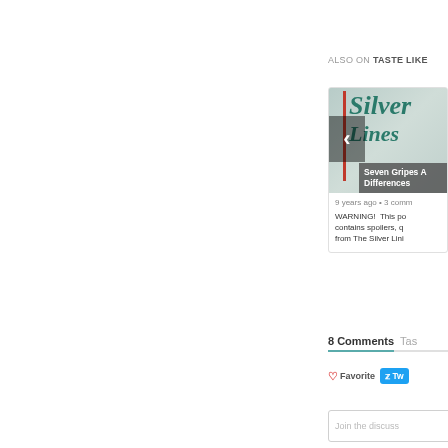ALSO ON TASTE LIKE
[Figure (screenshot): Card showing 'Silver Linings' book cover image with navigation arrow overlay and article title 'Seven Gripes A... Differences']
9 years ago • 3 comm
WARNING!  This po contains spoilers, q from The Silver Lini
8 Comments
Favorite
Tw
Join the discuss